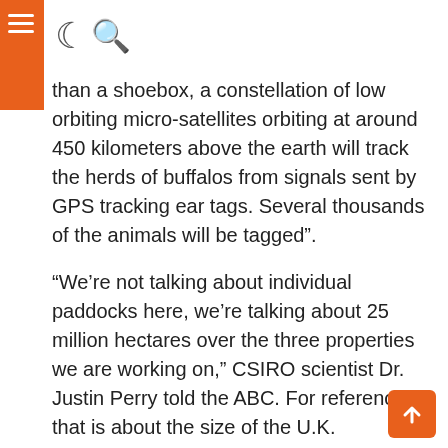Navigation header with hamburger menu, moon/dark-mode icon, and search icon
than a shoebox, a constellation of low orbiting micro-satellites orbiting at around 450 kilometers above the earth will track the herds of buffalos from signals sent by GPS tracking ear tags. Several thousands of the animals will be tagged”.
“We’re not talking about individual paddocks here, we’re talking about 25 million hectares over the three properties we are working on,” CSIRO scientist Dr. Justin Perry told the ABC. For reference, that is about the size of the U.K.
Up until now, researchers have used land-based stations to collect data on buffalo movement, but the structures just weren’t tough enough to withstand the conditions, which include cyclones